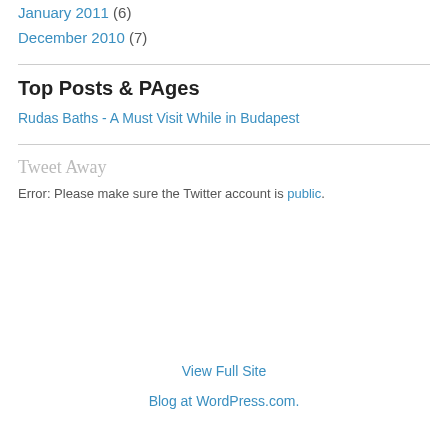January 2011 (6)
December 2010 (7)
Top Posts & PAges
Rudas Baths - A Must Visit While in Budapest
Tweet Away
Error: Please make sure the Twitter account is public.
View Full Site
Blog at WordPress.com.